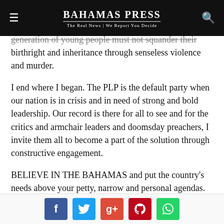BAHAMAS PRESS | The Real News | We Report You Decide
generation of young people must not squander their national birthright and inheritance through senseless violence and murder.
I end where I began. The PLP is the default party when our nation is in crisis and in need of strong and bold leadership. Our record is there for all to see and for the critics and armchair leaders and doomsday preachers, I invite them all to become a part of the solution through constructive engagement.
BELIEVE IN THE BAHAMAS and put the country's needs above your petty, narrow and personal agendas.